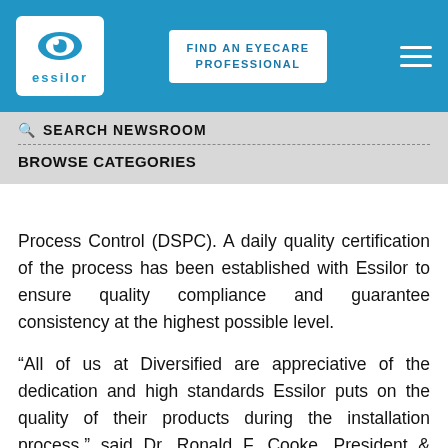Essilor — FIND AN EYECARE PROFESSIONAL
SEARCH NEWSROOM
BROWSE CATEGORIES
Process Control (DSPC). A daily quality certification of the process has been established with Essilor to ensure quality compliance and guarantee consistency at the highest possible level.
“All of us at Diversified are appreciative of the dedication and high standards Essilor puts on the quality of their products during the installation process,” said Dr. Ronald F. Cooke, President & CEO, Diversified Ophthalmics. “By starting with the